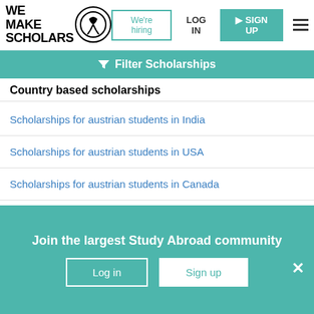[Figure (logo): We Make Scholars logo with circular emblem and person silhouette]
We're hiring
LOG IN
SIGN UP
Country based scholarships
Filter Scholarships
Scholarships for austrian students in India
Scholarships for austrian students in USA
Scholarships for austrian students in Canada
Scholarships for austrian students in Australia
Scholarships for austrian students in UK
Join the largest Study Abroad community
Log in
Sign up